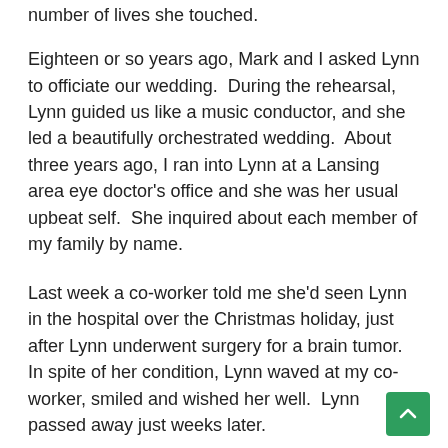number of lives she touched.
Eighteen or so years ago, Mark and I asked Lynn to officiate our wedding.  During the rehearsal, Lynn guided us like a music conductor, and she led a beautifully orchestrated wedding.  About three years ago, I ran into Lynn at a Lansing area eye doctor's office and she was her usual upbeat self.  She inquired about each member of my family by name.
Last week a co-worker told me she'd seen Lynn in the hospital over the Christmas holiday, just after Lynn underwent surgery for a brain tumor.  In spite of her condition, Lynn waved at my co-worker, smiled and wished her well.  Lynn passed away just weeks later.
Thank you, Lynn, for all the sunshine you brought into lives.  And thank you, Kip, being a great husband of 47